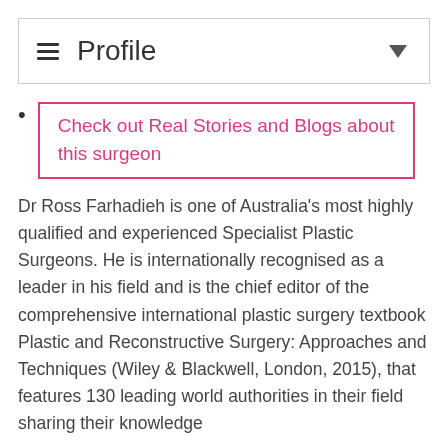≡ Profile
Check out Real Stories and Blogs about this surgeon
Dr Ross Farhadieh is one of Australia's most highly qualified and experienced Specialist Plastic Surgeons. He is internationally recognised as a leader in his field and is the chief editor of the comprehensive international plastic surgery textbook Plastic and Reconstructive Surgery: Approaches and Techniques (Wiley & Blackwell, London, 2015), that features 130 leading world authorities in their field sharing their knowledge